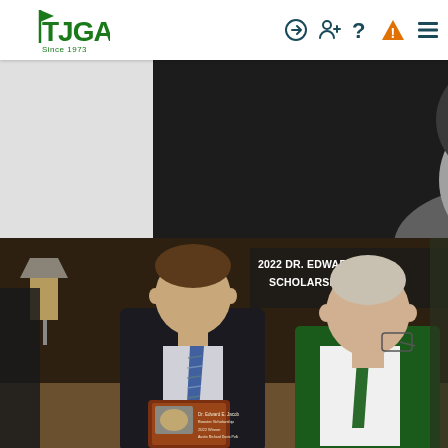TJGA Since 1973 — navigation bar with icons
[Figure (photo): Black and white partial portrait photo of a person, cropped at top showing neck and lower face area, dark background]
[Figure (photo): Color photograph of two men at an awards ceremony. A younger man in a dark suit with a blue patterned tie holds a plaque. An older man in a green blazer with a green tie stands beside him. A banner in the background reads '2022 DR. EDWARD JACO... SCHOLARSHIP WINNE...']